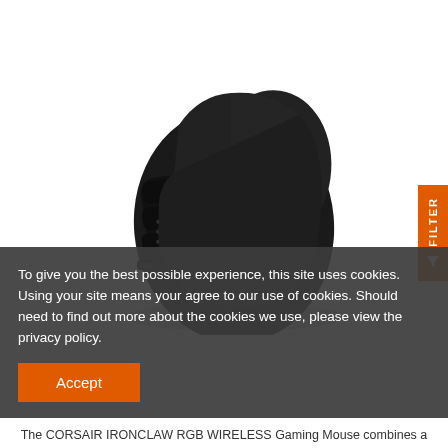[Figure (photo): Product photo of a Corsair IRONCLAW RGB WIRELESS gaming mouse, black with blue RGB lighting and Corsair logo on the back, viewed from above-front angle.]
To give you the best possible experience, this site uses cookies. Using your site means your agree to our use of cookies. Should need to find out more about the cookies we use, please view the privacy policy.
Accept
The CORSAIR IRONCLAW RGB WIRELESS Gaming Mouse combines a